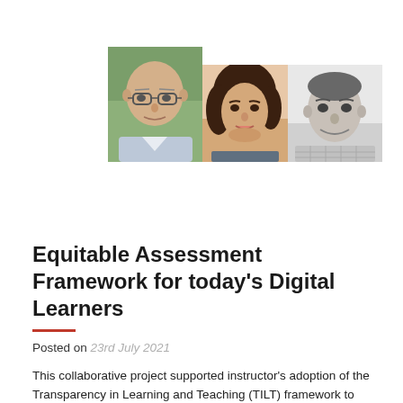[Figure (photo): Three author headshots arranged in a row: a bald older man with glasses on a green outdoor background (color), a young woman with dark curly hair (color), and a young man in a checked shirt (black and white).]
Equitable Assessment Framework for today's Digital Learners
Posted on 23rd July 2021
This collaborative project supported instructor's adoption of the Transparency in Learning and Teaching (TILT) framework to help structure and communicate